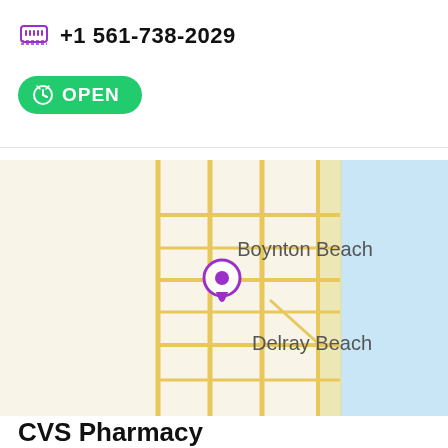+1 561-738-2029
OPEN
[Figure (map): Street map showing Boynton Beach and Delray Beach area in Florida with a purple map pin marker and street grid, ocean on the right side in blue.]
CVS Pharmacy